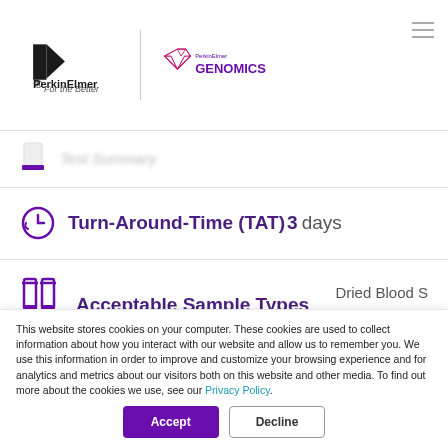[Figure (logo): PerkinElmer logo with 'For the Better' tagline and PerkinElmer Genomics logo with geometric gem icon]
Test Summary
Turn-Around-Time (TAT) 3 days
Acceptable Sample Types Dried Blood S Whole Blood
Self (patient)
This website stores cookies on your computer. These cookies are used to collect information about how you interact with our website and allow us to remember you. We use this information in order to improve and customize your browsing experience and for analytics and metrics about our visitors both on this website and other media. To find out more about the cookies we use, see our Privacy Policy.